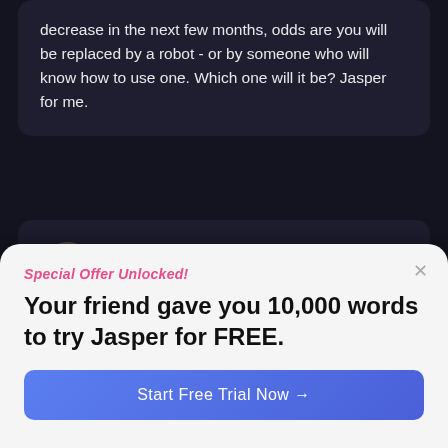decrease in the next few months, odds are you will be replaced by a robot - or by someone who will know how to use one. Which one will it be? Jasper for me.
Adam Linkenauger
Owner at Get More Views
An incredible tool from a great team
An incredible tool from a great team of smart entrepreneurs. It's 5 out 5 stars. BUT the team behind Jasper, I've had the privilege of watching from a distance, they've created a built...
Special Offer Unlocked!
Your friend gave you 10,000 words to try Jasper for FREE.
Start Free Trial Now →